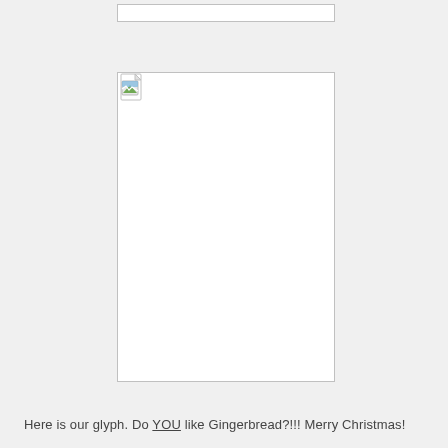[Figure (other): Broken image placeholder with small broken-image icon in top-left corner, white background, bordered box]
Here is our glyph.  Do YOU like Gingerbread?!!!  Merry Christmas!